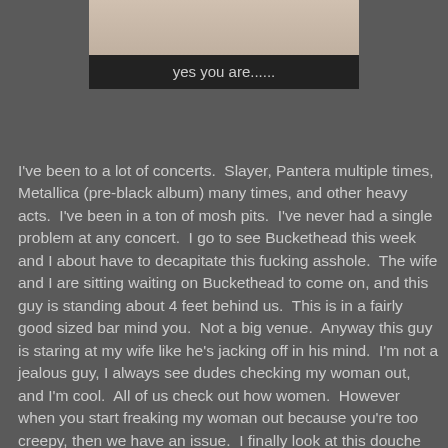[Figure (photo): Partial photo of a person in white clothing, cropped at top]
yes you are......
I've been to a lot of concerts.  Slayer, Pantera multiple times, Metallica (pre-black album) many times, and other heavy acts.  I've been in a ton of mosh pits.  I've never had a single problem at any concert.  I go to see Buckethead this week and I about have to decapitate this fucking asshole.  The wife and I are sitting waiting on Buckethead to come on, and this guy is standing about 4 feet behind us.  This is in a fairly good sized bar mind you.  Not a big venue.  Anyway this guy is staring at my wife like he's jacking off in his mind.  I'm not a jealous guy, I always see dudes checking my woman out, and I'm cool.  All of us check out how women.  However when you start freaking my woman out because you're too creepy, then we have an issue.  I finally look at this douche and said "Do you need to take a fucking picture?"  I told this douche he was creeping out my wife and he apologized for it.  "Were you gonna fight me in here?" he says to me.  "I hadn't planned on it.  It wouldn't be much of a fight though." I